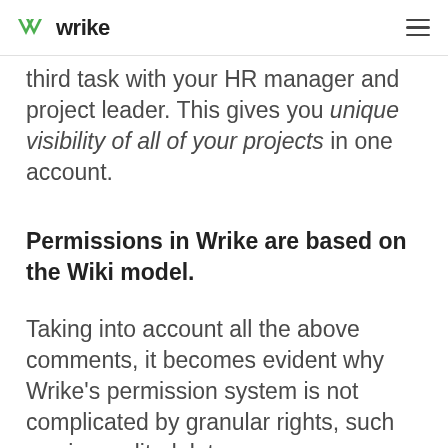wrike
third task with your HR manager and project leader. This gives you unique visibility of all of your projects in one account.
Permissions in Wrike are based on the Wiki model.
Taking into account all the above comments, it becomes evident why Wrike's permission system is not complicated by granular rights, such as view, edit, delete,